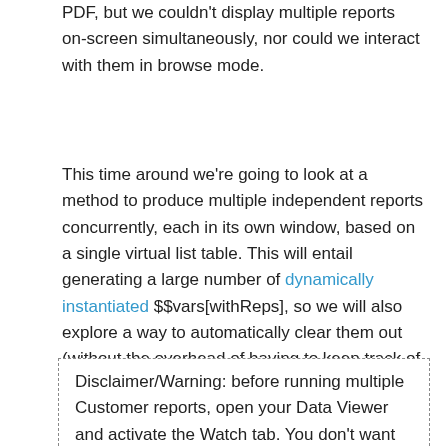PDF, but we couldn't display multiple reports on-screen simultaneously, nor could we interact with them in browse mode.
This time around we're going to look at a method to produce multiple independent reports concurrently, each in its own window, based on a single virtual list table. This will entail generating a large number of dynamically instantiated $$vars[withReps], so we will also explore a way to automatically clear them out (without the overhead of having to keep track of them during instantiation).
Disclaimer/Warning: before running multiple Customer reports, open your Data Viewer and activate the Watch tab. You don't want to display the Current tab with 5K or more variables in memory, unless you've got a lot of ... time ... on ... your ... hands.